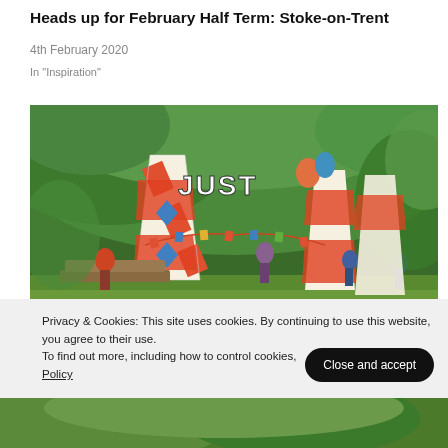Heads up for February Half Term: Stoke-on-Trent
4th February 2020
In "Inspiration"
[Figure (photo): Outdoor festival scene with tall striped red and white decorative structures forming an arch entrance, colorful bunting, trees in background, people walking around a green outdoor area in summer.]
Privacy & Cookies: This site uses cookies. By continuing to use this website, you agree to their use.
To find out more, including how to control cookies, see here: Cookie Policy
[Figure (photo): Partial view of outdoor green nature scene at bottom of page.]